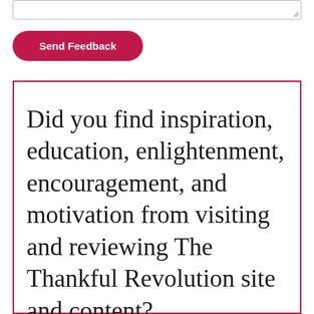[Figure (other): Textarea input box at the top of the page]
Send Feedback
Did you find inspiration, education, enlightenment, encouragement, and motivation from visiting and reviewing The Thankful Revolution site and content?